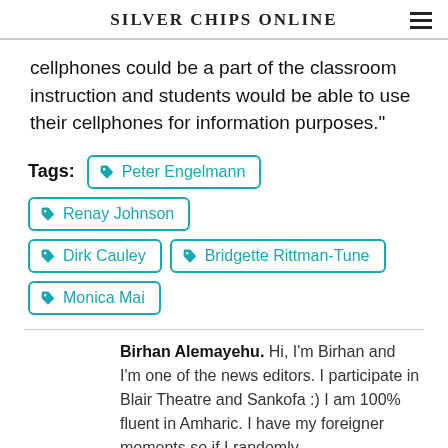Silver Chips Online
cellphones could be a part of the classroom instruction and students would be able to use their cellphones for information purposes."
Tags: Peter Engelmann  Renay Johnson  Dirk Cauley  Bridgette Rittman-Tune  Monica Mai
Birhan Alemayehu. Hi, I'm Birhan and I'm one of the news editors. I participate in Blair Theatre and Sankofa :) I am 100% fluent in Amharic. I have my foreigner moments so if I randomly